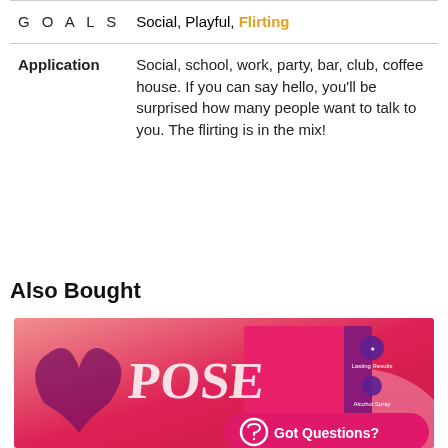|  |  |
| --- | --- |
| GOALS | Social, Playful, Flirting |
| Application | Social, school, work, party, bar, club, coffee house. If you can say hello, you'll be surprised how many people want to talk to you. The flirting is in the mix! |
Also Bought
[Figure (photo): Product image of POSE perfume/spray with pink and red packaging, showing logo, product details, and a 'Got Questions?' chat button overlay]